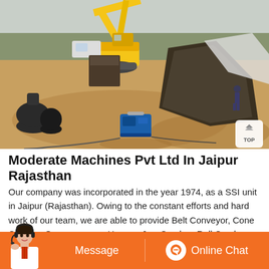[Figure (photo): Outdoor construction/mining site with a yellow excavator (SANY brand) in the background, large construction equipment and metal objects on sandy ground, a small blue generator in the center, gas cylinders on the left, trees in the background, overcast sky.]
Moderate Machines Pvt Ltd In Jaipur Rajasthan
Our company was incorporated in the year 1974, as a SSI unit in Jaipur (Rajasthan). Owing to the constant efforts and hard work of our team, we are able to provide Belt Conveyor, Cone Crusher, Grizzly, Hopper, Jaw Crusher, Roll Crusher, Rotopactors (H.S.I.),